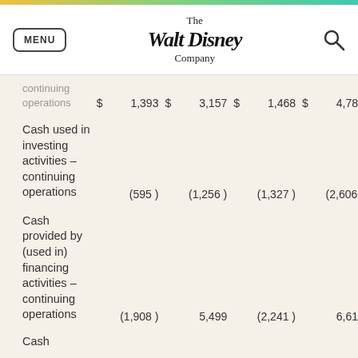The Walt Disney Company
|  |  |  |  |  |  |  |  |
| --- | --- | --- | --- | --- | --- | --- | --- |
| continuing operations | $ | 1,393 | $ | 3,157 | $ | 1,468 | $ | 4,787 |
| Cash used in investing activities – continuing operations |  | (595 ) |  | (1,256 ) |  | (1,327 ) |  | (2,606 ) |
| Cash provided by (used in) financing activities – continuing operations |  | (1,908 ) |  | 5,499 |  | (2,241 ) |  | 6,616 |
| Cash |  |  |  |  |  |  |  |  |